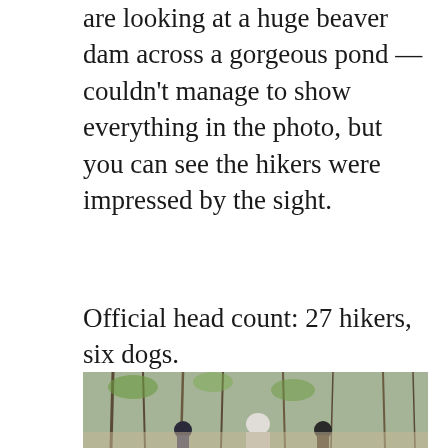are looking at a huge beaver dam across a gorgeous pond — couldn't manage to show everything in the photo, but you can see the hikers were impressed by the sight.
Official head count: 27 hikers, six dogs.
[Figure (photo): Group of hikers with dogs on a trail surrounded by bare trees with light foliage, outdoors in autumn or early spring.]